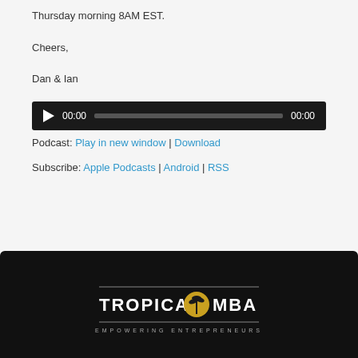Thursday morning 8AM EST.
Cheers,
Dan & Ian
[Figure (other): Audio player widget with play button, time display 00:00, progress bar, and end time 00:00 on dark background]
Podcast: Play in new window | Download
Subscribe: Apple Podcasts | Android | RSS
[Figure (logo): Tropical MBA logo — white text 'TROPICAL MBA' with a palm tree icon in a gold circle, tagline 'EMPOWERING ENTREPRENEURS', on dark/black background]